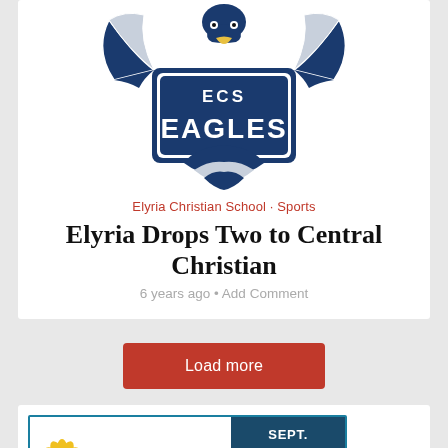[Figure (logo): ECS Eagles school logo — dark navy blue eagle with spread wings above a shield bearing 'ECS EAGLES' text]
Elyria Christian School · Sports
Elyria Drops Two to Central Christian
6 years ago • Add Comment
Load more
[Figure (illustration): Kansas State Fair advertisement banner: sunflower logo, 'KANSAS STATE FAIR' text, 'SEPT. 9-18 HUTCHINSON, KS' on dark blue background, 'ADVANCE GATE' on teal background]